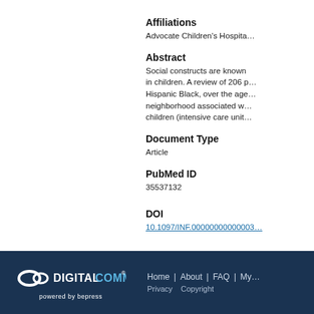Affiliations
Advocate Children's Hospita…
Abstract
Social constructs are known… in children. A review of 206 p… Hispanic Black, over the age… neighborhood associated w… children (intensive care unit…
Document Type
Article
PubMed ID
35537132
DOI
10.1097/INF.00000000000003…
Home | About | FAQ | My… Privacy Copyright — DIGITAL COMMONS powered by bepress